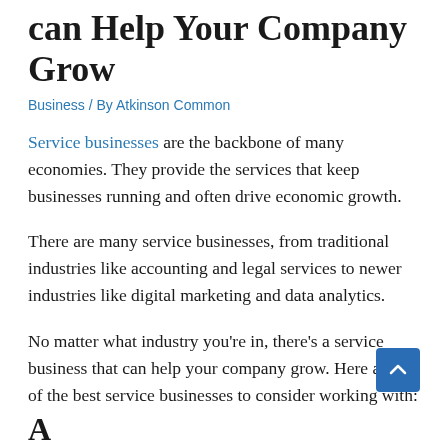can Help Your Company Grow
Business / By Atkinson Common
Service businesses are the backbone of many economies. They provide the services that keep businesses running and often drive economic growth.
There are many service businesses, from traditional industries like accounting and legal services to newer industries like digital marketing and data analytics.
No matter what industry you're in, there's a service business that can help your company grow. Here are 10 of the best service businesses to consider working with: